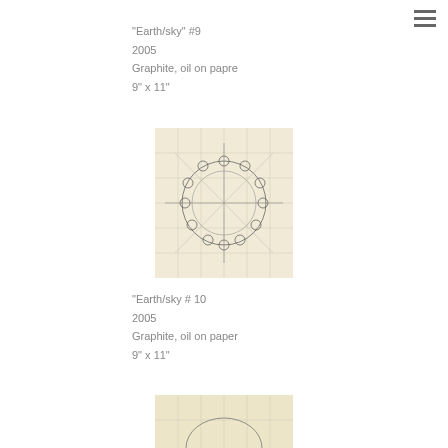"Earth/sky" #9
2005
Graphite, oil on papre
9" x 11"
[Figure (illustration): Artwork showing a circular arrangement of geometric forms drawn in graphite on aged paper, with grid lines and small circles forming a ring pattern]
"Earth/sky # 10
2005
Graphite, oil on paper
9" x 11"
[Figure (illustration): Partial view of another artwork on aged paper, similar style to the one above]